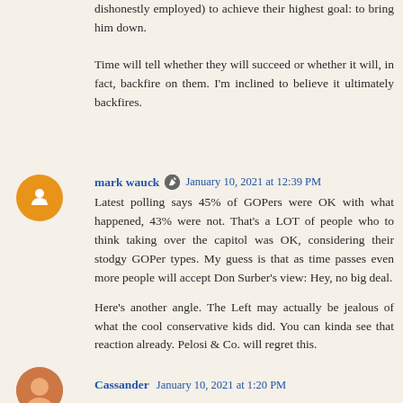dishonestly employed) to achieve their highest goal: to bring him down.
Time will tell whether they will succeed or whether it will, in fact, backfire on them. I'm inclined to believe it ultimately backfires.
mark wauck  January 10, 2021 at 12:39 PM
Latest polling says 45% of GOPers were OK with what happened, 43% were not. That's a LOT of people who to think taking over the capitol was OK, considering their stodgy GOPer types. My guess is that as time passes even more people will accept Don Surber's view: Hey, no big deal.

Here's another angle. The Left may actually be jealous of what the cool conservative kids did. You can kinda see that reaction already. Pelosi & Co. will regret this.
Cassander  January 10, 2021 at 1:20 PM